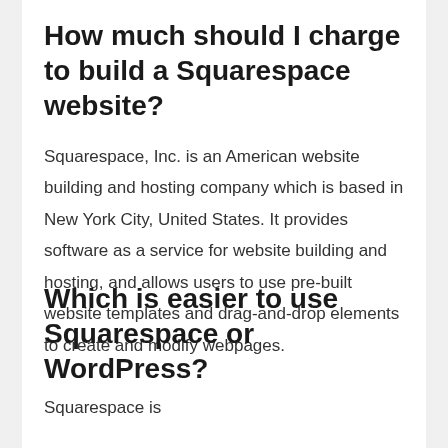How much should I charge to build a Squarespace website?
Squarespace, Inc. is an American website building and hosting company which is based in New York City, United States. It provides software as a service for website building and hosting, and allows users to use pre-built website templates and drag-and-drop elements to create and modify webpages.
Which is easier to use Squarespace or WordPress?
Squarespace is...